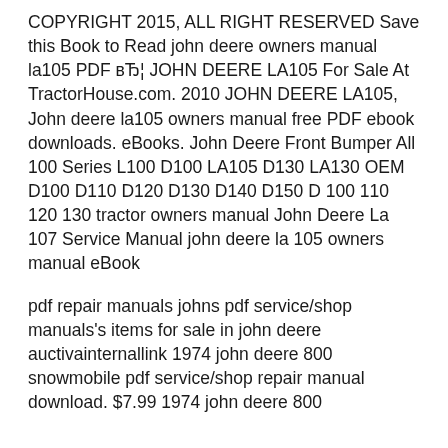COPYRIGHT 2015, ALL RIGHT RESERVED Save this Book to Read john deere owners manual la105 PDF вЂ¦ JOHN DEERE LA105 For Sale At TractorHouse.com. 2010 JOHN DEERE LA105, John deere la105 owners manual free PDF ebook downloads. eBooks. John Deere Front Bumper All 100 Series L100 D100 LA105 D130 LA130 OEM D100 D110 D120 D130 D140 D150 D 100 110 120 130 tractor owners manual John Deere La 107 Service Manual john deere la 105 owners manual eBook
pdf repair manuals johns pdf service/shop manuals's items for sale in john deere auctivainternallink 1974 john deere 800 snowmobile pdf service/shop repair manual download. $7.99 1974 john deere 800